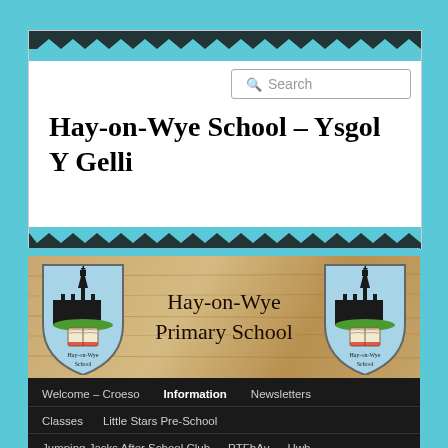[Figure (screenshot): School website screenshot showing header with search box, site title, banner with school logo and name, and navigation menu]
Hay-on-Wye School – Ysgol Y Gelli
[Figure (illustration): Hay-on-Wye Primary School banner with wooden texture background, two shield logos on either side, and handwritten-style school name text in center]
Welcome – Croeso
Information
Newsletters
Classes
Little Stars Pre-School
Jumping Jacks After School Club
PTFhAy
Hwb